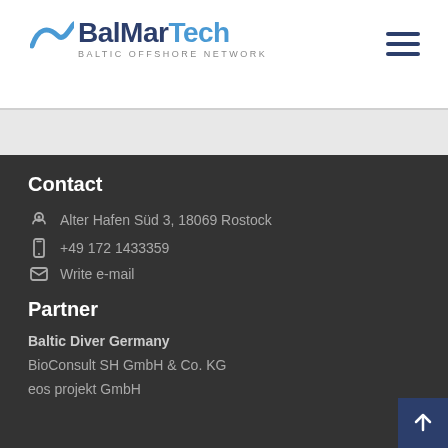BalMarTech — Baltic Offshore Network
Contact
Alter Hafen Süd 3, 18069 Rostock
+49 172 1433359
Write e-mail
Partner
Baltic Diver Germany
BioConsult SH GmbH & Co. KG
eos projekt GmbH